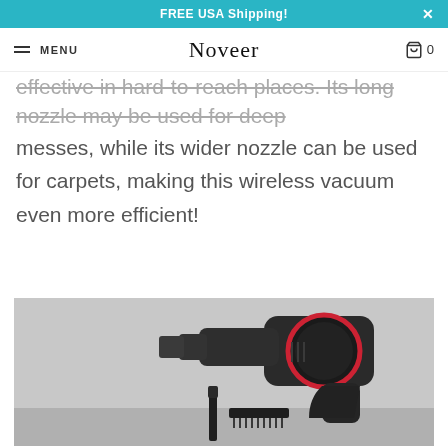FREE USA Shipping!
MENU | Noveer | 0
effective in hard-to-reach places. Its long nozzle may be used for deep messes, while its wider nozzle can be used for carpets, making this wireless vacuum even more efficient!
[Figure (photo): Photo of a black wireless vacuum cleaner with nozzle attachments including a crevice tool and brush head, displayed against a light gray background]